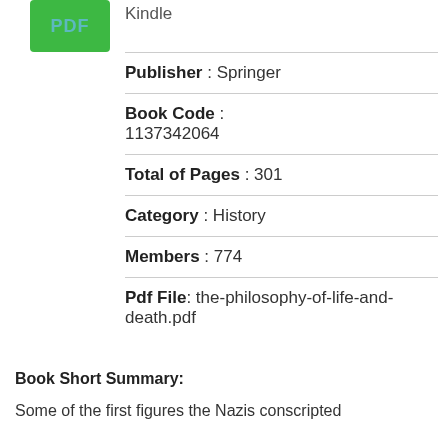Kindle
[Figure (other): Green PDF button with text 'PDF']
Publisher : Springer
Book Code : 1137342064
Total of Pages : 301
Category : History
Members : 774
Pdf File: the-philosophy-of-life-and-death.pdf
Book Short Summary:
Some of the first figures the Nazis conscripted